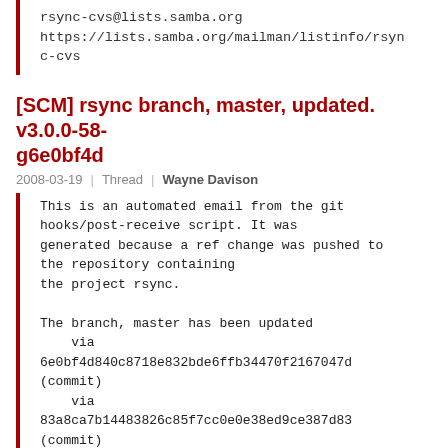rsync-cvs@lists.samba.org
https://lists.samba.org/mailman/listinfo/rsync-cvs
[SCM] rsync branch, master, updated. v3.0.0-58-g6e0bf4d
2008-03-19 | Thread | Wayne Davison
This is an automated email from the git
hooks/post-receive script. It was
generated because a ref change was pushed to
the repository containing
the project rsync.

The branch, master has been updated
    via  6e0bf4d840c8718e832bde6ffb34470f2167047d (commit)
    via  83a8ca7b14483826c85f7cc0e0e38ed9ce387d83 (commit)
    via  100200d0d2c959a1bf215b1b42db94039bbbcb98